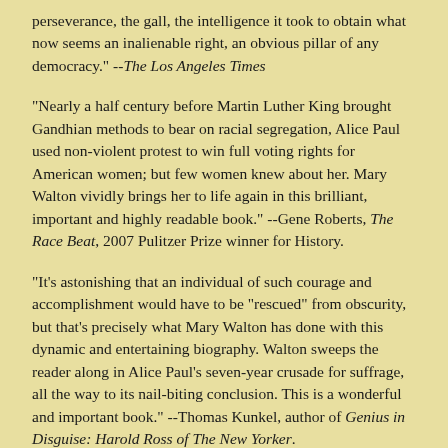perseverance, the gall, the intelligence it took to obtain what now seems an inalienable right, an obvious pillar of any democracy." --The Los Angeles Times
"Nearly a half century before Martin Luther King brought Gandhian methods to bear on racial segregation, Alice Paul used non-violent protest to win full voting rights for American women; but few women knew about her. Mary Walton vividly brings her to life again in this brilliant, important and highly readable book." --Gene Roberts, The Race Beat, 2007 Pulitzer Prize winner for History.
"It's astonishing that an individual of such courage and accomplishment would have to be "rescued" from obscurity, but that's precisely what Mary Walton has done with this dynamic and entertaining biography. Walton sweeps the reader along in Alice Paul's seven-year crusade for suffrage, all the way to its nail-biting conclusion. This is a wonderful and important book." --Thomas Kunkel, author of Genius in Disguise: Harold Ross of The New Yorker.
"Mary Walton has written a passionate history of one of my